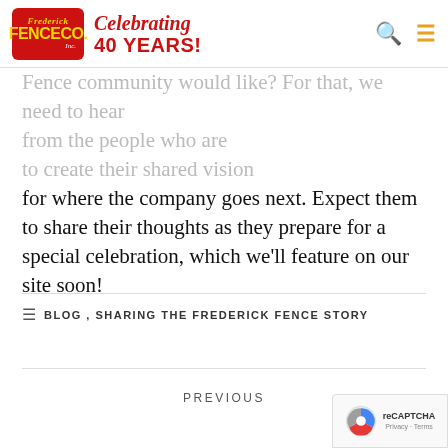Frederick Fence Co. Inc. — Celebrating 40 Years!
for where the company goes next. Expect them to share their thoughts as they prepare for a special celebration, which we'll feature on our site soon!
BLOG, SHARING THE FREDERICK FENCE STORY
PREVIOUS